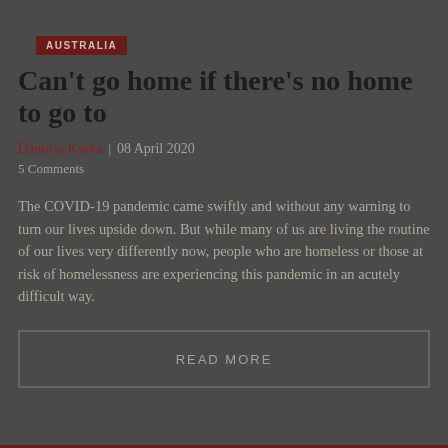AUSTRALIA
Can't go home if there's no home to go to
Danusia Kaska | 08 April 2020
5 Comments
The COVID-19 pandemic came swiftly and without any warning to turn our lives upside down. But while many of us are living the routine of our lives very differently now, people who are homeless or those at risk of homelessness are experiencing this pandemic in an acutely difficult way.
READ MORE